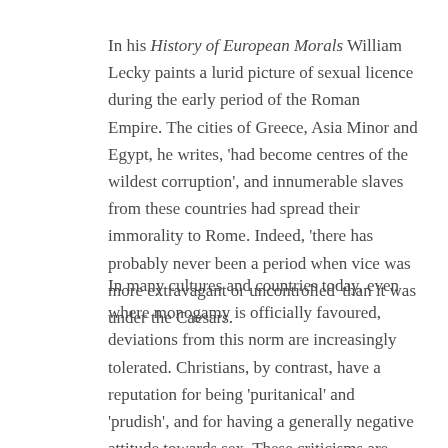In his *History of European Morals* William Lecky paints a lurid picture of sexual licence during the early period of the Roman Empire. The cities of Greece, Asia Minor and Egypt, he writes, 'had become centres of the wildest corruption', and innumerable slaves from these countries had spread their immorality to Rome. Indeed, 'there has probably never been a period when vice was more extravagant or uncontrolled' than it was under the Caesars.
In many cultures and countries today, even where monogamy is officially favoured, deviations from this norm are increasingly tolerated. Christians, by contrast, have a reputation for being 'puritanical' and 'prudish', and for having a generally negative attitude towards sex. These criticisms are sometimes just. But in self-defence we also claim to be realists. Although we recognize that sex is the good gift of a good Creator, we also know that it has been corrupted and distorted by the fall, so that...